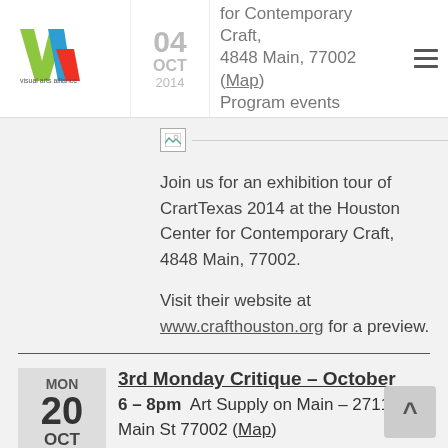VAA Visual Arts Alliance
04 OCT 2014 for Contemporary Craft, 4848 Main, 77002 (Map) Program events
[Figure (illustration): Broken image placeholder with horizontal line]
Join us for an exhibition tour of CrartTexas 2014 at the Houston Center for Contemporary Craft, 4848 Main, 77002.
Visit their website at www.crafthouston.org for a preview.
3rd Monday Critique – October
6 – 8pm  Art Supply on Main – 2711 Main St 77002 (Map)
MON 20 OCT 2014